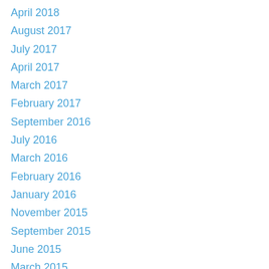April 2018
August 2017
July 2017
April 2017
March 2017
February 2017
September 2016
July 2016
March 2016
February 2016
January 2016
November 2015
September 2015
June 2015
March 2015
December 2014
October 2014
September 2014
August 2014
July 2014